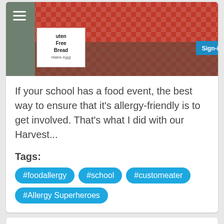[Figure (photo): Photo of a food event table with red checkered tablecloth. Signs visible: 'Allergy Friendly Table' and 'Gluten Free Bread (contains egg)'. Hamburger menu icon top left. Sign-in button top right corner.]
If your school has a food event, the best way to ensure that it's allergy-friendly is to get involved. That's what I did with our Harvest...
Tags:
#foodallergy  #school  #customeater  #Allergy Superheroes
Allergy Superheroes
Allergy Friendly Table...